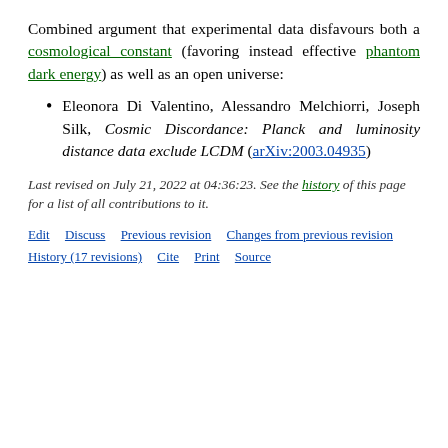Combined argument that experimental data disfavours both a cosmological constant (favoring instead effective phantom dark energy) as well as an open universe:
Eleonora Di Valentino, Alessandro Melchiorri, Joseph Silk, Cosmic Discordance: Planck and luminosity distance data exclude LCDM (arXiv:2003.04935)
Last revised on July 21, 2022 at 04:36:23. See the history of this page for a list of all contributions to it.
Edit  Discuss  Previous revision  Changes from previous revision  History (17 revisions)  Cite  Print  Source